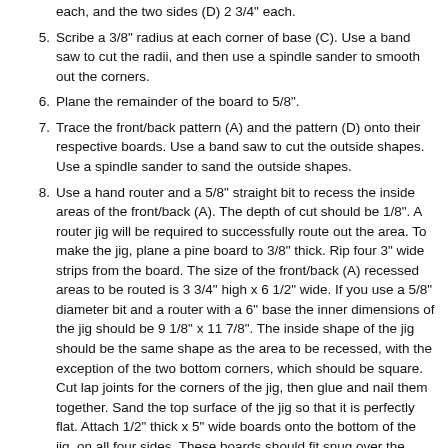each, and the two sides (D) 2 3/4" each.
5. Scribe a 3/8" radius at each corner of base (C). Use a band saw to cut the radii, and then use a spindle sander to smooth out the corners.
6. Plane the remainder of the board to 5/8".
7. Trace the front/back pattern (A) and the pattern (D) onto their respective boards. Use a band saw to cut the outside shapes. Use a spindle sander to sand the outside shapes.
8. Use a hand router and a 5/8" straight bit to recess the inside areas of the front/back (A). The depth of cut should be 1/8". A router jig will be required to successfully route out the area. To make the jig, plane a pine board to 3/8" thick. Rip four 3" wide strips from the board. The size of the front/back (A) recessed areas to be routed is 3 3/4" high x 6 1/2" wide. If you use a 5/8" diameter bit and a router with a 6" base the inner dimensions of the jig should be 9 1/8" x 11 7/8". The inside shape of the jig should be the same shape as the area to be recessed, with the exception of the two bottom corners, which should be square. Cut lap joints for the corners of the jig, then glue and nail them together. Sand the top surface of the jig so that it is perfectly flat. Attach 1/2" thick x 5" wide boards onto the bottom of the jig, on all four sides. These boards should fit snug over the outsides of the front/back (A) to help keep the jig from moving